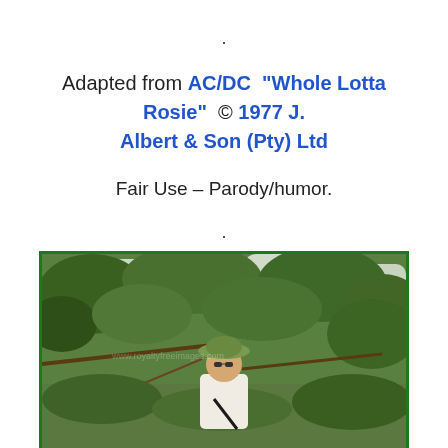.
Adapted from AC/DC “Whole Lotta Rosie” © 1977 J. Albert & Son (Pty) Ltd
Fair Use – Parody/humor.
.
[Figure (photo): A person wearing a green bucket hat and white long-sleeve shirt standing in a lush green forest/bush setting, holding a strap, surrounded by trees and branches. Photo has a green border and a watermark.]